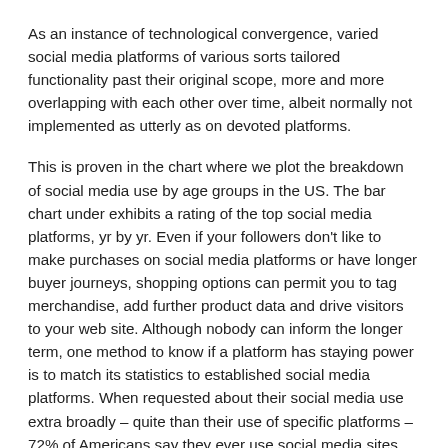As an instance of technological convergence, varied social media platforms of various sorts tailored functionality past their original scope, more and more overlapping with each other over time, albeit normally not implemented as utterly as on devoted platforms.
This is proven in the chart where we plot the breakdown of social media use by age groups in the US. The bar chart under exhibits a rating of the top social media platforms, yr by yr. Even if your followers don't like to make purchases on social media platforms or have longer buyer journeys, shopping options can permit you to tag merchandise, add further product data and drive visitors to your web site. Although nobody can inform the longer term, one method to know if a platform has staying power is to match its statistics to established social media platforms. When requested about their social media use extra broadly – quite than their use of specific platforms – 72% of Americans say they ever use social media sites.